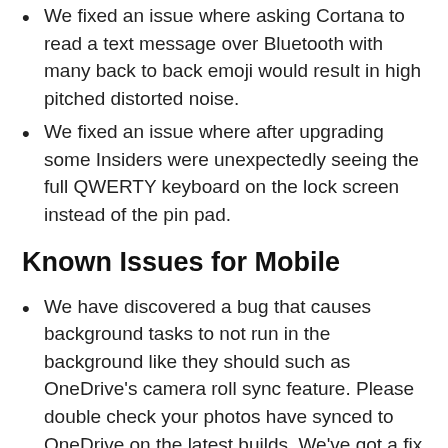We fixed an issue where asking Cortana to read a text message over Bluetooth with many back to back emoji would result in high pitched distorted noise.
We fixed an issue where after upgrading some Insiders were unexpectedly seeing the full QWERTY keyboard on the lock screen instead of the pin pad.
Known Issues for Mobile
We have discovered a bug that causes background tasks to not run in the background like they should such as OneDrive's camera roll sync feature. Please double check your photos have synced to OneDrive on the latest builds. We've got a fix for this issue coming in an upcoming build where background tasks will…